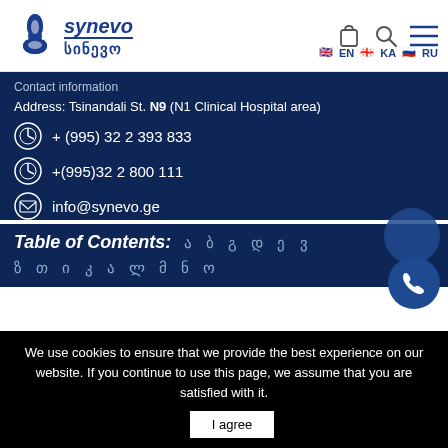synevo | სინევო — navigation header with bag, search, menu icons and EN KA RU language options
Contact information
Address: Tsinandali St. N9 (N1 Clinical Hospital area)
+ (995) 32 2 393 833
+(995)32 2 800 111
info@synevo.ge
Table of Contents:
We use cookies to ensure that we provide the best experience on our website. If you continue to use this page, we assume that you are satisfied with it.
I agree